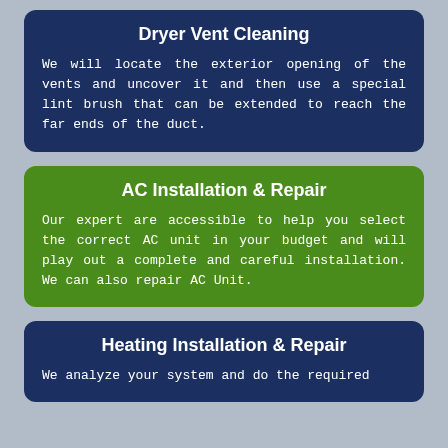Dryer Vent Cleaning
We will locate the exterior opening of the vents and uncover it and then use a special lint brush that can be extended to reach the far ends of the duct.
AC Installation & Repair
Our expert are accessible to help you select the correct AC unit in your budget and will play out a complete and careful installation. We can also repair AC Unit.
Heating Installation & Repair
We analyze your system and do the required